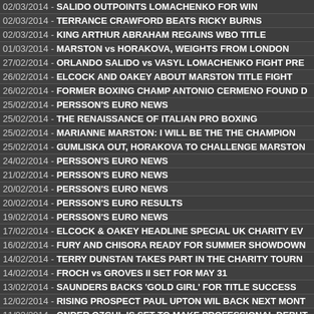02/03/2014 - SALIDO OUTPOINTS LOMACHENKO FOR WIN
02/03/2014 - TERRANCE CRAWFORD BEATS RICKY BURNS
02/03/2014 - KING ARTHUR ABRAHAM REGAINS WBO TITLE
01/03/2014 - MARSTON vs HORAKOVA, WEIGHTS FROM LONDON
27/02/2014 - ORLANDO SALIDO vs VASYL LOMACHENKO FIGHT PRE
26/02/2014 - ELCOCK AND OAKEY ABOUT MARSTON TITLE FIGHT
26/02/2014 - FORMER BOXING CHAMP ANTONIO CERMENO FOUND D
25/02/2014 - PERSSON'S EURO NEWS
25/02/2014 - THE RENAISSANCE OF ITALIAN PRO BOXING
25/02/2014 - MARIANNE MARSTON: I WILL BE THE THE CHAMPION
25/02/2014 - GUMLISKA OUT, HORAKOVA TO CHALLENGE MARSTON
24/02/2014 - PERSSON'S EURO NEWS
21/02/2014 - PERSSON'S EURO NEWS
20/02/2014 - PERSSON'S EURO NEWS
20/02/2014 - PERSSON'S EURO RESULTS
19/02/2014 - PERSSON'S EURO NEWS
17/02/2014 - ELCOCK & OAKEY HEADLINE SPECIAL UK CHARITY EV
16/02/2014 - FURY AND CHISORA READY FOR SUMMER SHOWDOWN
14/02/2014 - TERRY DUNSTAN TAKES PART IN THE CHARITY TOURN
14/02/2014 - FROCH vs GROVES II SET FOR MAY 31
13/02/2014 - SAUNDERS BACKS 'GOLD GIRL' FOR TITLE SUCCESS
12/02/2014 - RISING PROSPECT PAUL UPTON WIL BACK NEXT MONT
11/02/2014 - ONDER OZGUL IS SET TO MAKE PROFESSIONAL DEBUT
10/02/2014 - MICHAEL GRANT READY FOR BILLY MORGAN SHOWDO
07/02/2014 - PERSSON'S EURO NEWS
07/02/2014 - IAN NAPA TO TAKE PART IN CHARITY BOXING EVENT
07/02/2014 - THE 30 YOUNG BOXERS ON THE RISE IN 2014